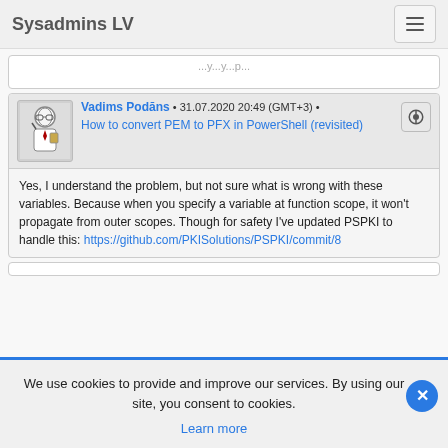Sysadmins LV
...y...y...p...
Vadims Podāns • 31.07.2020 20:49 (GMT+3) • How to convert PEM to PFX in PowerShell (revisited)
Yes, I understand the problem, but not sure what is wrong with these variables. Because when you specify a variable at function scope, it won't propagate from outer scopes. Though for safety I've updated PSPKI to handle this: https://github.com/PKISolutions/PSPKI/commit/8
We use cookies to provide and improve our services. By using our site, you consent to cookies.
Learn more